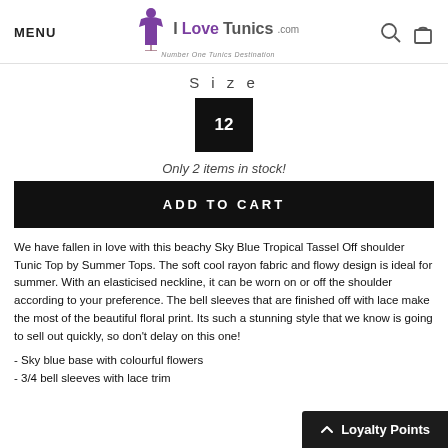MENU | I LoveTunics.com Number One Tunics Destination
Size
12
Only 2 items in stock!
ADD TO CART
We have fallen in love with this beachy Sky Blue Tropical Tassel Off shoulder Tunic Top by Summer Tops. The soft cool rayon fabric and flowy design is ideal for summer. With an elasticised neckline, it can be worn on or off the shoulder according to your preference. The bell sleeves that are finished off with lace make the most of the beautiful floral print. Its such a stunning style that we know is going to sell out quickly, so don't delay on this one!
- Sky blue base with colourful flowers
- 3/4 bell sleeves with lace trim
Loyalty Points